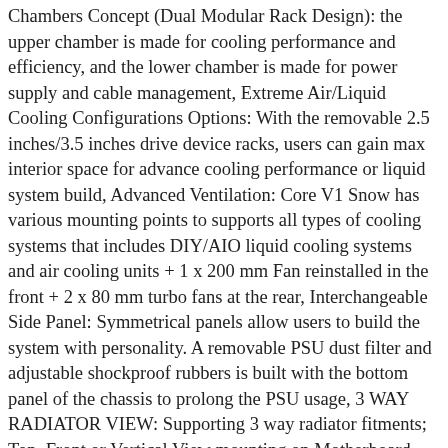Chambers Concept (Dual Modular Rack Design): the upper chamber is made for cooling performance and efficiency, and the lower chamber is made for power supply and cable management, Extreme Air/Liquid Cooling Configurations Options: With the removable 2.5 inches/3.5 inches drive device racks, users can gain max interior space for advance cooling performance or liquid system build, Advanced Ventilation: Core V1 Snow has various mounting points to supports all types of cooling systems that includes DIY/AIO liquid cooling systems and air cooling units + 1 x 200 mm Fan reinstalled in the front + 2 x 80 mm turbo fans at the rear, Interchangeable Side Panel: Symmetrical panels allow users to build the system with personality. A removable PSU dust filter and adjustable shockproof rubbers is built with the bottom panel of the chassis to prolong the PSU usage, 3 WAY RADIATOR VIEW: Supporting 3 way radiator fitments; Top, Front or Vertical View mounting on Motherboard Tray, VERTICAL GPU: Includes GPU Float bracket allows vertical mounting options for 2.5 slot GPU solutions; (Riser Cable Sold Separately), SUPPORT UP TO 10 HDD: 2.5 inches/3.5 inches x 4 with HDD Rack + 3.5 inches x 3 / 2.5 inches x 6 behind M/B Tray,